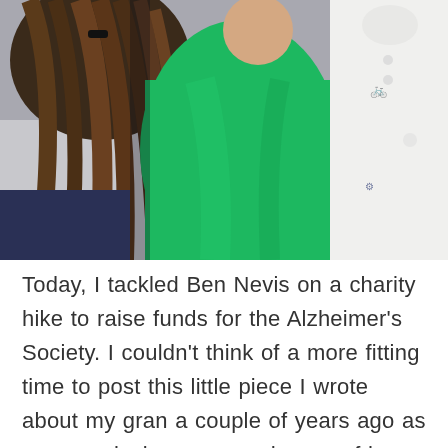[Figure (photo): Close-up photo of two people. Person on left has long brown hair with a dark hair clip, wearing a navy blue top. A person in a bright green cardigan/jumper is visible in the center. On the right, a person in a white shirt with a small print pattern is partially visible.]
Today, I tackled Ben Nevis on a charity hike to raise funds for the Alzheimer's Society. I couldn't think of a more fitting time to post this little piece I wrote about my gran a couple of years ago as we were losing more and more of her to dementia. For my own comfort more